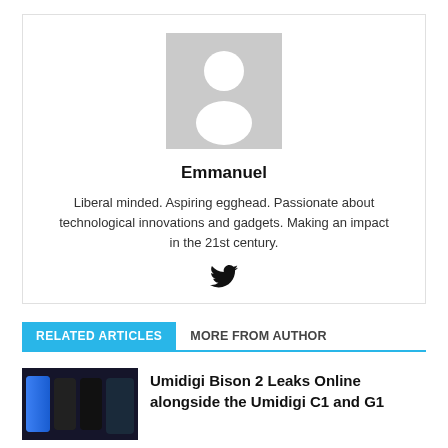[Figure (illustration): Grey placeholder avatar silhouette showing a person outline centered in a grey square]
Emmanuel
Liberal minded. Aspiring egghead. Passionate about technological innovations and gadgets. Making an impact in the 21st century.
[Figure (logo): Twitter bird icon]
RELATED ARTICLES
MORE FROM AUTHOR
[Figure (photo): Thumbnail showing multiple Umidigi phone models]
Umidigi Bison 2 Leaks Online alongside the Umidigi C1 and G1